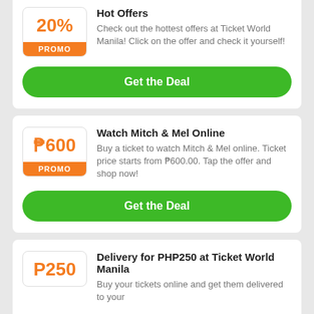Hot Offers
Check out the hottest offers at Ticket World Manila! Click on the offer and check it yourself!
Get the Deal
Watch Mitch & Mel Online
Buy a ticket to watch Mitch & Mel online. Ticket price starts from ₱600.00. Tap the offer and shop now!
Get the Deal
Delivery for PHP250 at Ticket World Manila
Buy your tickets online and get them delivered to your